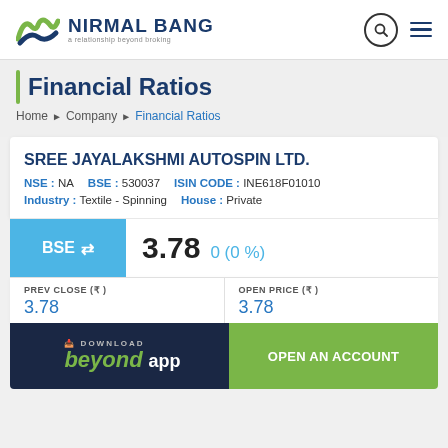Nirmal Bang – a relationship beyond broking
Financial Ratios
Home > Company > Financial Ratios
SREE JAYALAKSHMI AUTOSPIN LTD.
NSE : NA   BSE : 530037   ISIN CODE : INE618F01010
Industry : Textile - Spinning   House : Private
BSE ⇌ 3.78   0 (0 %)
| PREV CLOSE (₹) | OPEN PRICE (₹) |
| --- | --- |
| 3.78 | 3.78 |
DOWNLOAD beyond app   OPEN AN ACCOUNT